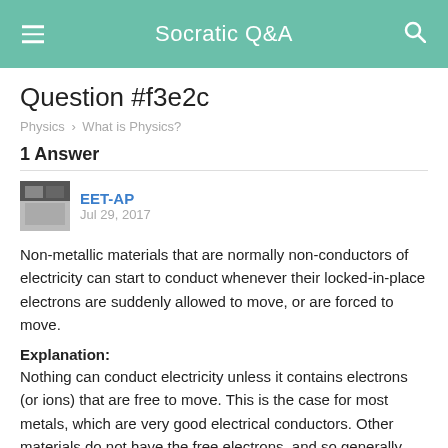Socratic Q&A
Question #f3e2c
Physics > What is Physics?
1 Answer
EET-AP
Jul 29, 2017
Non-metallic materials that are normally non-conductors of electricity can start to conduct whenever their locked-in-place electrons are suddenly allowed to move, or are forced to move.
Explanation:
Nothing can conduct electricity unless it contains electrons (or ions) that are free to move. This is the case for most metals, which are very good electrical conductors. Other materials do not have the free electrons, and so generally they will not conduct, and are classified as insulators. Some are better at